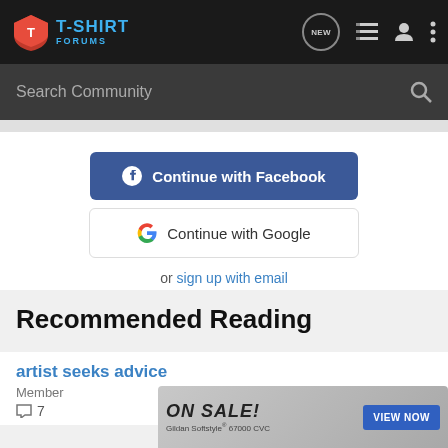T-SHIRT FORUMS
Search Community
Continue with Facebook
Continue with Google
or sign up with email
Recommended Reading
artist seeks advice
Member
7
[Figure (screenshot): ON SALE! Gildan Softstyle 67000 CVC advertisement banner with VIEW NOW button]